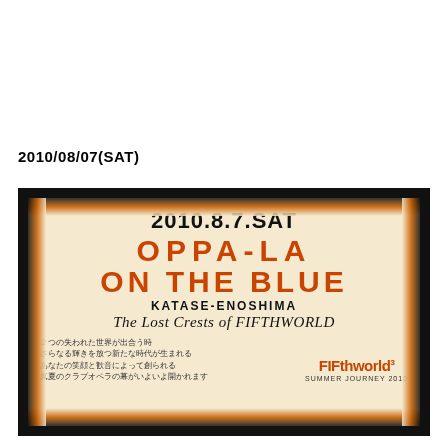2010/08/07(SAT)
[Figure (illustration): Event poster for OPPA-LA ON THE BLUE at KATASE-ENOSHIMA on 2010.8.7.SAT, featuring The Lost Crests of FIFTHWORLD, SUMMER JOURNEY 2010. Parchment-style background with fiery/burned edges on dark rocky background. Text in Japanese describing two lost worlds meeting.]